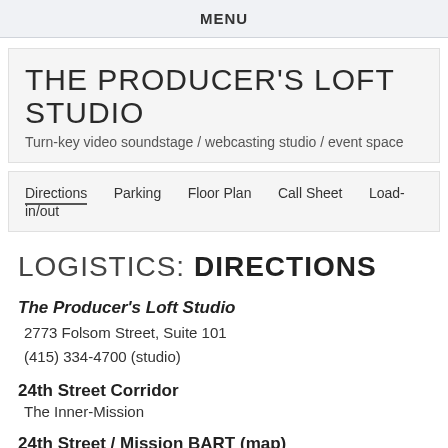MENU
THE PRODUCER'S LOFT STUDIO
Turn-key video soundstage / webcasting studio / event space
Directions  Parking  Floor Plan  Call Sheet  Load-in/out
LOGISTICS: DIRECTIONS
The Producer's Loft Studio
2773 Folsom Street, Suite 101
(415) 334-4700 (studio)
24th Street Corridor
The Inner-Mission
24th Street / Mission BART (map)